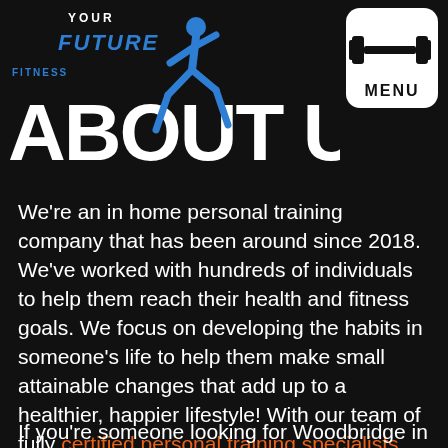[Figure (logo): Your Future Fitness logo with running athlete figure in blue, overlaid on 'ABOUT US' text]
[Figure (illustration): Menu button with dumbbell icon and MENU text in white box with rounded corners]
We're an in home personal training company that has been around since 2018. We've worked with hundreds of individuals to help them reach their health and fitness goals. We focus on developing the habits in someone's life to help them make small attainable changes that add up to a healthier, happier lifestyle! With our team of fully certified personal training specialists with backgrounds in Fitness and Health, as well as kinesiology, you can be sure you're in great hands!
If you're someone looking for Woodbridge in home...